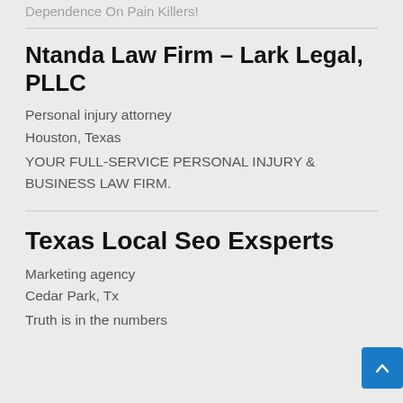Dependence On Pain Killers!
Ntanda Law Firm – Lark Legal, PLLC
Personal injury attorney
Houston, Texas
YOUR FULL-SERVICE PERSONAL INJURY & BUSINESS LAW FIRM.
Texas Local Seo Exsperts
Marketing agency
Cedar Park, Tx
Truth is in the numbers